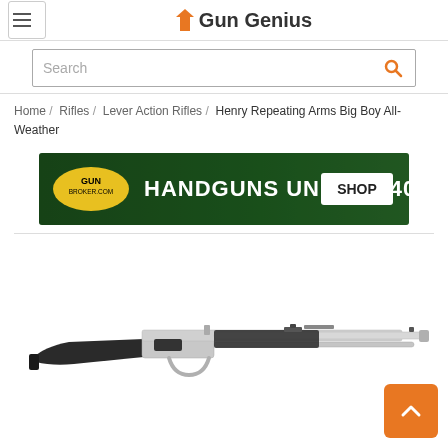Gun Genius
Search
Home / Rifles / Lever Action Rifles / Henry Repeating Arms Big Boy All-Weather
[Figure (infographic): Gun Broker advertisement banner: 'HANDGUNS UNDER $400 SHOP' on green/dark background with GUN BROKER logo]
[Figure (photo): Henry Repeating Arms Big Boy All-Weather lever action rifle with stainless steel barrel and dark synthetic stock, shown in side profile]